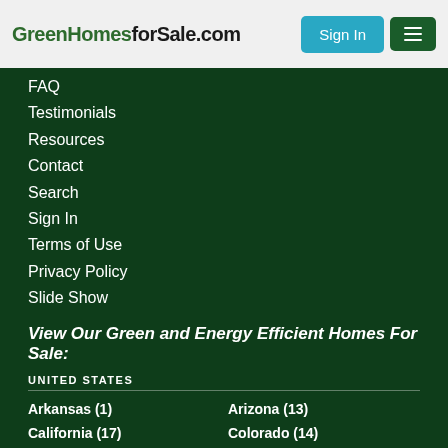GreenHomesforSale.com
FAQ
Testimonials
Resources
Contact
Search
Sign In
Terms of Use
Privacy Policy
Slide Show
View Our Green and Energy Efficient Homes For Sale:
UNITED STATES
Arkansas (1)	Arizona (13)
California (17)	Colorado (14)
Connecticut (5)	Florida (3)
Georgia (6)	Hawaii (2)
Idaho (5)	Illinois (1)